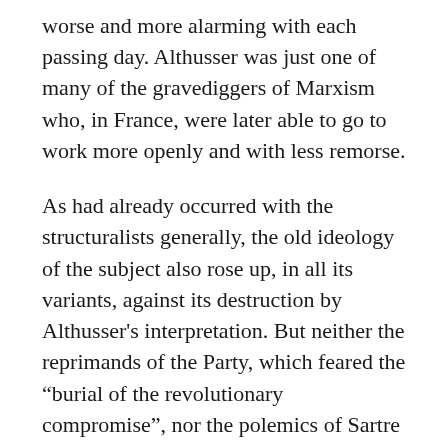worse and more alarming with each passing day. Althusser was just one of many of the gravediggers of Marxism who, in France, were later able to go to work more openly and with less remorse.
As had already occurred with the structuralists generally, the old ideology of the subject also rose up, in all its variants, against its destruction by Althusser's interpretation. But neither the reprimands of the Party, which feared the “burial of the revolutionary compromise”, nor the polemics of Sartre or Alfred Schmidt, were able to stop the theoretical process of the destruction of the enlightenment subject once it had started. Such attempts were as useless as the analogous debate between Jürgen Habermas and Niklas Luhmann, for example.25 As has been pointed out, the western theories of the subject were destroyed long